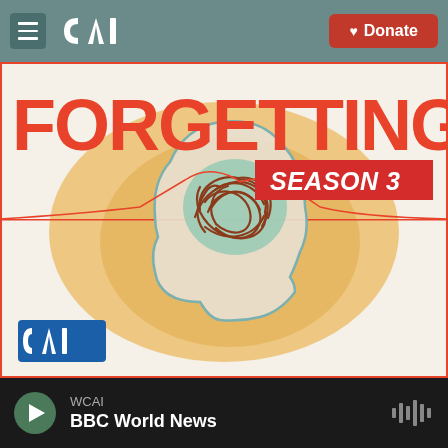CAI — Donate
[Figure (illustration): Forgetting Season 3 podcast cover art: a side profile of a human head with a tangled red/brown line representing a brain, with a teal brain highlight and golden/amber halo, on a cream background with red border lines and CAI logo in bottom left]
WCAI — BBC World News (player bar)